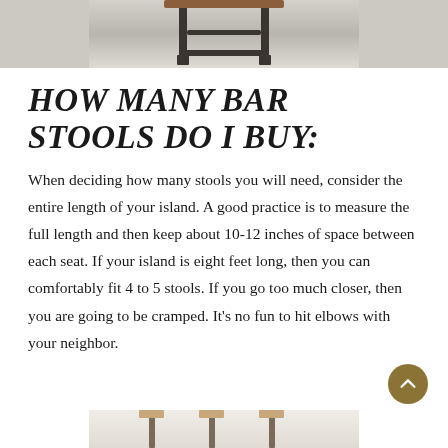[Figure (photo): Top portion of a bar stool with dark metal legs against a light background, partially cropped at top of page]
HOW MANY BAR STOOLS DO I BUY:
When deciding how many stools you will need, consider the entire length of your island. A good practice is to measure the full length and then keep about 10-12 inches of space between each seat. If your island is eight feet long, then you can comfortably fit 4 to 5 stools. If you go too much closer, then you are going to be cramped. It's no fun to hit elbows with your neighbor.
[Figure (photo): Bottom portion of another bar stool photo, partially cropped at bottom of page]